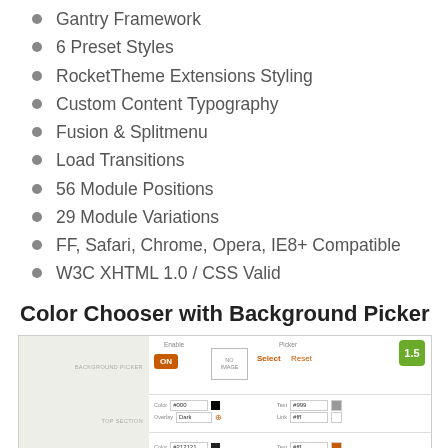Gantry Framework
6 Preset Styles
RocketTheme Extensions Styling
Custom Content Typography
Fusion & Splitmenu
Load Transitions
56 Module Positions
29 Module Variations
FF, Safari, Chrome, Opera, IE8+ Compatible
W3C XHTML 1.0 / CSS Valid
Color Chooser with Background Picker
[Figure (screenshot): Screenshot of a Color Chooser with Background Picker UI panel showing Enable/ON toggle, Picker with Select and Reset buttons, color fields for #000 and #999, overlay dropdown set to Dark, link field #fff, and a 1.5 version badge.]